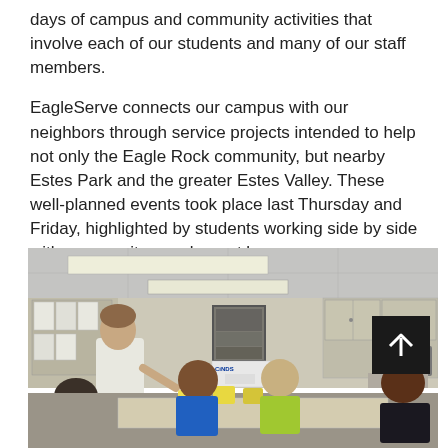days of campus and community activities that involve each of our students and many of our staff members.
EagleServe connects our campus with our neighbors through service projects intended to help not only the Eagle Rock community, but nearby Estes Park and the greater Estes Valley. These well-planned events took place last Thursday and Friday, highlighted by students working side by side with community members at large.
[Figure (photo): Indoor photo of a classroom or meeting room with a standing adult instructor speaking to several students seated around a table. The room has overhead fluorescent lighting, wall cabinets, a framed poster, and a CINPS sign on the wall. Students appear to be working on materials on the table. A scroll-up button overlay appears in the top-right of the image.]